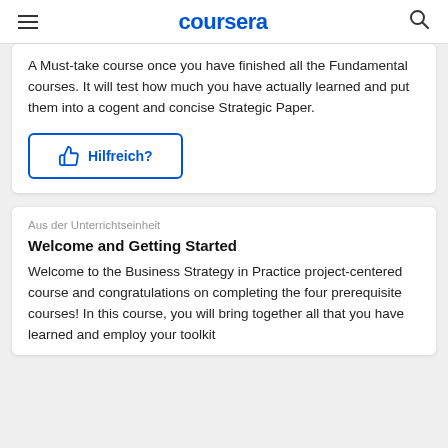coursera
A Must-take course once you have finished all the Fundamental courses. It will test how much you have actually learned and put them into a cogent and concise Strategic Paper.
Hilfreich?
Aus der Unterrichtseinheit
Welcome and Getting Started
Welcome to the Business Strategy in Practice project-centered course and congratulations on completing the four prerequisite courses! In this course, you will bring together all that you have learned and employ your toolkit